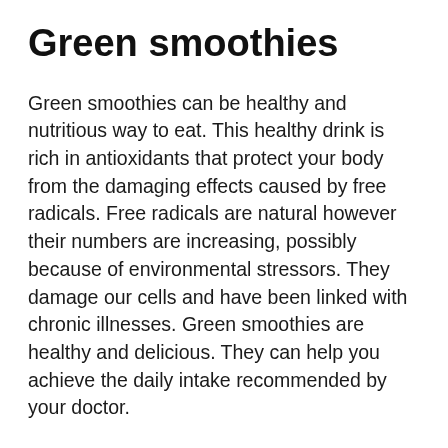Green smoothies
Green smoothies can be healthy and nutritious way to eat. This healthy drink is rich in antioxidants that protect your body from the damaging effects caused by free radicals. Free radicals are natural however their numbers are increasing, possibly because of environmental stressors. They damage our cells and have been linked with chronic illnesses. Green smoothies are healthy and delicious. They can help you achieve the daily intake recommended by your doctor.
Fruit smoothies